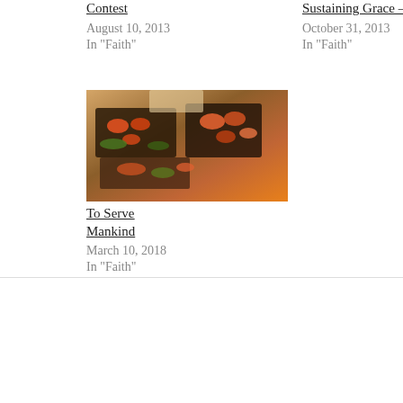Contest
August 10, 2013
In "Faith"
Sustaining Grace – Revisited
October 31, 2013
In "Faith"
[Figure (photo): A food spread with various dishes including what appears to be sushi, salads, and other foods arranged on trays or platters, viewed from above at an angle.]
To Serve Mankind
March 10, 2018
In "Faith"
[Figure (other): Navigation buttons: a black circular button with a right-pointing arrow (next) and a black circular button with a left-pointing arrow (previous).]